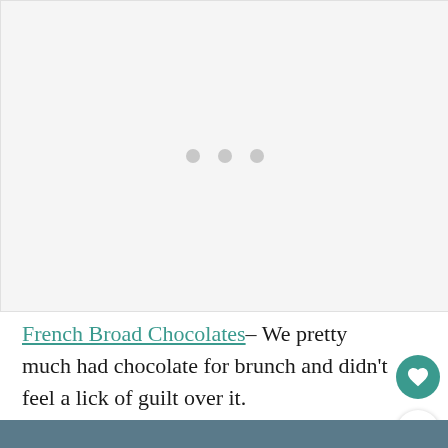[Figure (other): Loading placeholder image with three grey dots centered on a light grey background]
French Broad Chocolates– We pretty much had chocolate for brunch and didn't feel a lick of guilt over it.
[Figure (photo): Partial bottom strip of a photo, partially cut off at bottom edge of page]